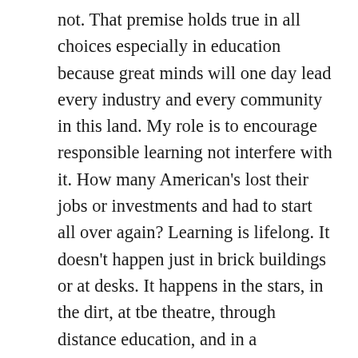not. That premise holds true in all choices especially in education because great minds will one day lead every industry and every community in this land. My role is to encourage responsible learning not interfere with it. How many American's lost their jobs or investments and had to start all over again? Learning is lifelong. It doesn't happen just in brick buildings or at desks. It happens in the stars, in the dirt, at tbe theatre, through distance education, and in a conversations. It happens with peers and it happens when alone. Education is not a place we go to learn. Education is an ever expanding universe of opportunities. We are all teachers to children if we choose to pass on our trades, crafts, and professions. The children are teachers to us as well as they master the